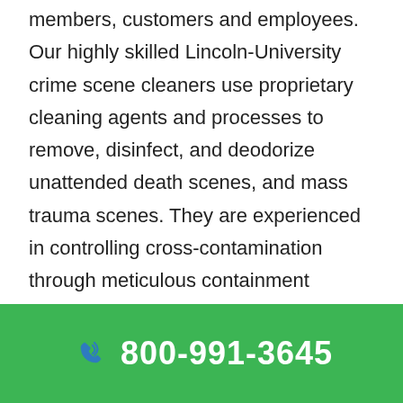members, customers and employees. Our highly skilled Lincoln-University crime scene cleaners use proprietary cleaning agents and processes to remove, disinfect, and deodorize unattended death scenes, and mass trauma scenes. They are experienced in controlling cross-contamination through meticulous containment procedures, properly disposing of biohazard wastes in medically and legally approved receptacles, and adhere to strict environmental regulations when it comes to transport.
800-991-3645